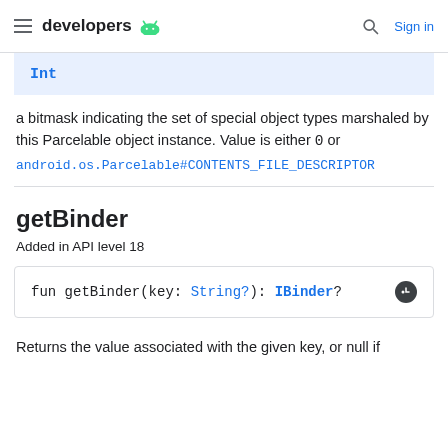developers | Sign in
Int
a bitmask indicating the set of special object types marshaled by this Parcelable object instance. Value is either 0 or android.os.Parcelable#CONTENTS_FILE_DESCRIPTOR
getBinder
Added in API level 18
fun getBinder(key: String?): IBinder?
Returns the value associated with the given key, or null if